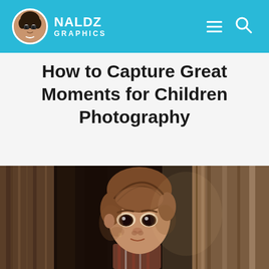NALDZ GRAPHICS
How to Capture Great Moments for Children Photography
[Figure (photo): A young child with dark eyes peeking from behind a wooden door or wall, wearing a striped shirt, with dramatic lighting in a dark rustic setting]